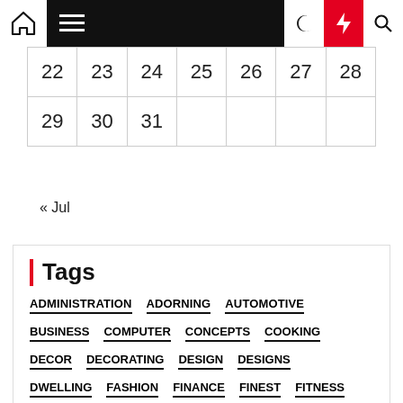Navigation bar with home, menu, moon, bolt, search icons
| 22 | 23 | 24 | 25 | 26 | 27 | 28 |
| 29 | 30 | 31 |  |  |  |  |
« Jul
Tags
ADMINISTRATION
ADORNING
AUTOMOTIVE
BUSINESS
COMPUTER
CONCEPTS
COOKING
DECOR
DECORATING
DESIGN
DESIGNS
DWELLING
FASHION
FINANCE
FINEST
FITNESS
FOOTAGE
GENERAL
GREATEST
HEALTH
HOUSE
HUNDRED
IDEAS
IMPROVEMENT
INFORMATION